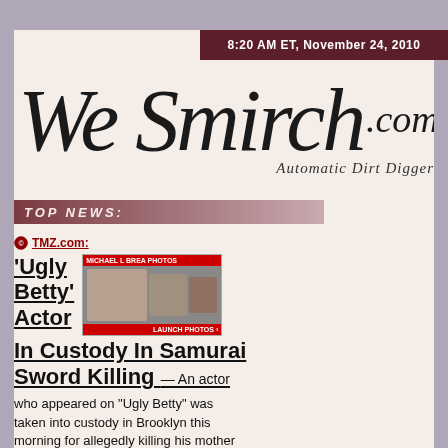8:20 AM ET, November 24, 2010
WeSmirch.com — Automatic Dirt Digger
TOP NEWS:
TMZ.com: 'Ugly Betty' Actor In Custody In Samurai Sword Killing — An actor who appeared on "Ugly Betty" was taken into custody in Brooklyn this morning for allegedly killing his mother with a 3-foot long samurai sword while screaming biblical passages. — According to the police, the suspect ...
Discussion: OK! Magazine, CBS